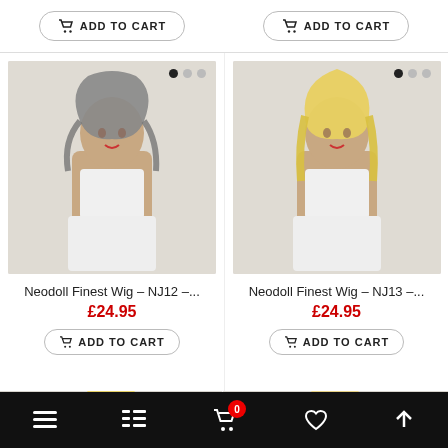[Figure (screenshot): E-commerce product listing page showing wigs for sale. Two 'ADD TO CART' buttons at top, two product cards for 'Neodoll Finest Wig – NJ12 –...' and 'Neodoll Finest Wig – NJ13 –...' each priced at £24.95 with ADD TO CART buttons, partial view of two more product images at bottom, and a black navigation bar at the bottom.]